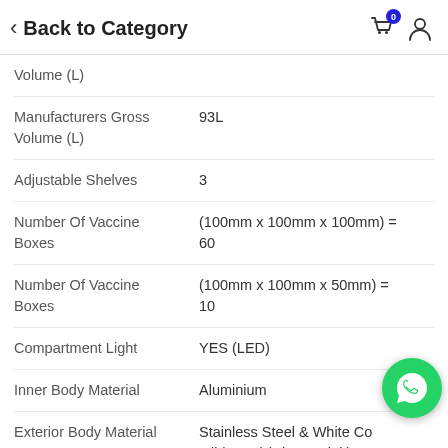Back to Category
| Attribute | Value |
| --- | --- |
| Volume (L) |  |
| Manufacturers Gross Volume (L) | 93L |
| Adjustable Shelves | 3 |
| Number Of Vaccine Boxes | (100mm x 100mm x 100mm) = 60 |
| Number Of Vaccine Boxes | (100mm x 100mm x 50mm) = 10 |
| Compartment Light | YES (LED) |
| Inner Body Material | Aluminium |
| Exterior Body Material | Stainless Steel & White Coated Mild Steel (Chromadek) |
| Freezer Temperature Display | YES |